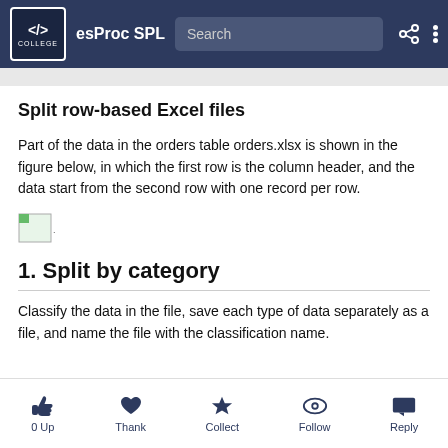esProc SPL
Split row-based Excel files
Part of the data in the orders table orders.xlsx is shown in the figure below, in which the first row is the column header, and the data start from the second row with one record per row.
[Figure (illustration): Small thumbnail image placeholder (broken image icon with '...' text)]
1. Split by category
Classify the data in the file, save each type of data separately as a file, and name the file with the classification name.
0 Up   Thank   Collect   Follow   Reply